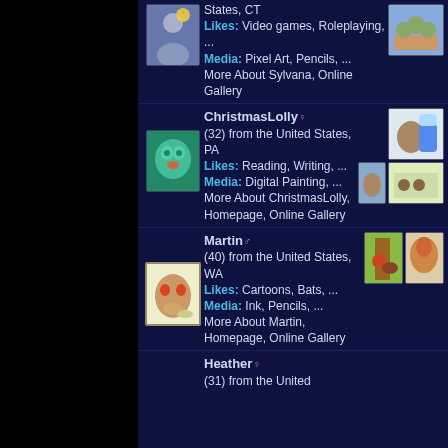States, CT
Likes: Video games, Roleplaying, ...
Media: Pixel Art, Pencils, ...
More About Sylvana, Online Gallery
ChristmasLolly ♀ (32) from the United States, PA
Likes: Reading, Writing, ...
Media: Digital Painting, ...
More About ChristmasLolly, Homepage, Online Gallery
Martin ♂ (40) from the United States, WA
Likes: Cartoons, Bats, ...
Media: Ink, Pencils, ...
More About Martin, Homepage, Online Gallery
Heather ♀ (31) from the United ...